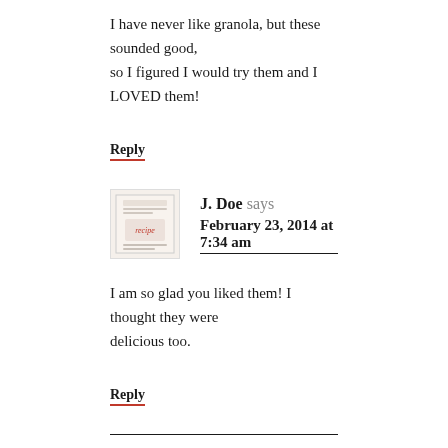I have never like granola, but these sounded good, so I figured I would try them and I LOVED them!
Reply
J. Doe says
February 23, 2014 at 7:34 am
I am so glad you liked them! I thought they were delicious too.
Reply
LEAVE A REPLY TO TORY C